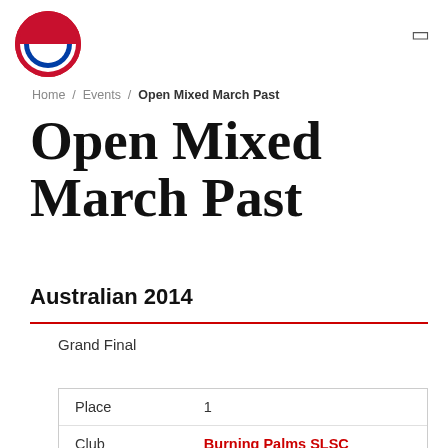[Figure (logo): Surf Life Saving Australia circular logo with red border, blue inner ring, and figure of lifesaver with yellow cap]
Home / Events / Open Mixed March Past
Open Mixed March Past
Australian 2014
Grand Final
| Place | Club |
| --- | --- |
| 1 | Burning Palms SLSC |